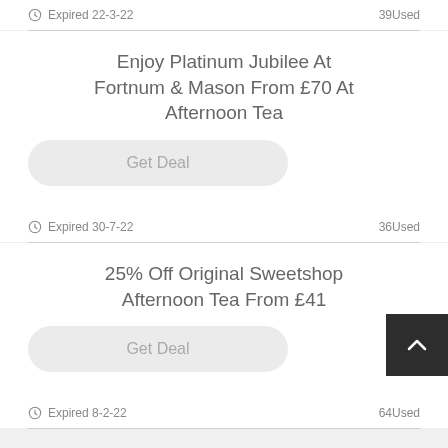Expired 22-3-22   39Used
Enjoy Platinum Jubilee At Fortnum & Mason From £70 At Afternoon Tea
Get Deal
Expired 30-7-22   36Used
25% Off Original Sweetshop Afternoon Tea From £41
Get Deal
Expired 8-2-22   64Used